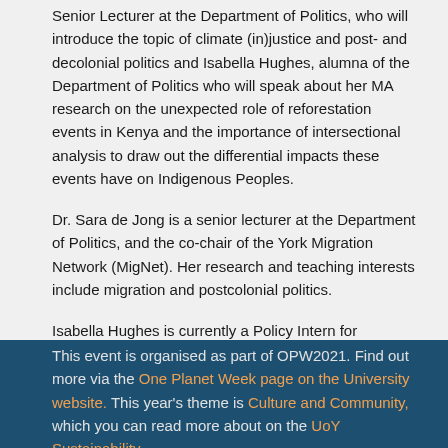Senior Lecturer at the Department of Politics, who will introduce the topic of climate (in)justice and post- and decolonial politics and Isabella Hughes, alumna of the Department of Politics who will speak about her MA research on the unexpected role of reforestation events in Kenya and the importance of intersectional analysis to draw out the differential impacts these events have on Indigenous Peoples.
Dr. Sara de Jong is a senior lecturer at the Department of Politics, and the co-chair of the York Migration Network (MigNet). Her research and teaching interests include migration and postcolonial politics.
Isabella Hughes is currently a Policy Intern for Universities UK with an undergraduate degree in Social Anthropology and just completed her Masters with Distinction from the University of York in Public Administration and Public Policy.
This event is organised as part of OPW2021. Find out more via the One Planet Week page on the University website. This year's theme is Culture and Community, which you can read more about on the UoY Sustainability